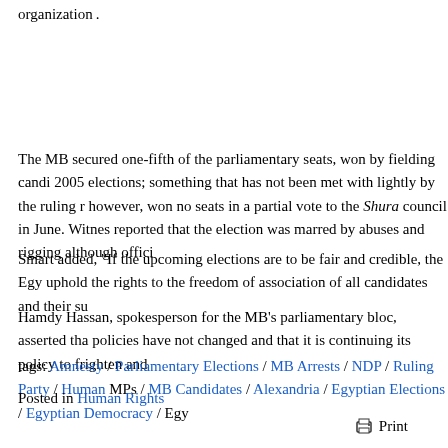organization .
The MB secured one-fifth of the parliamentary seats, won by fielding candi 2005 elections; something that has not been met with lightly by the ruling r however, won no seats in a partial vote to the Shura council in June. Witnes reported that the election was marred by abuses and rigging although offici
Smart added, "If the upcoming elections are to be fair and credible, the Egy uphold the rights to the freedom of association of all candidates and their su
Hamdy Hassan, spokesperson for the MB's parliamentary bloc, asserted tha policies have not changed and that it is continuing its policy to frighten and
tags: Amnesty / Parliamentary Elections / MB Arrests / NDP / Ruling Party / Human MPs / MB Candidates / Alexandria / Egyptian Elections / Egyptian Democracy / Egy
Posted in Human Rights
Print